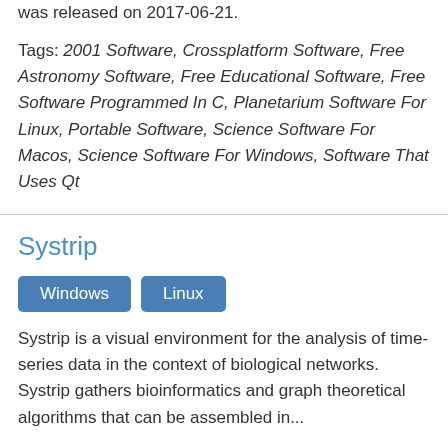was released on 2017-06-21.
Tags: 2001 Software, Crossplatform Software, Free Astronomy Software, Free Educational Software, Free Software Programmed In C, Planetarium Software For Linux, Portable Software, Science Software For Macos, Science Software For Windows, Software That Uses Qt
Systrip
Windows   Linux
Systrip is a visual environment for the analysis of time-series data in the context of biological networks. Systrip gathers bioinformatics and graph theoretical algorithms that can be assembled in...
Latest version of Systrip is 1.0 and it was released on 27 May 2011.
Tags: Articles Created Via The Article Wizard,